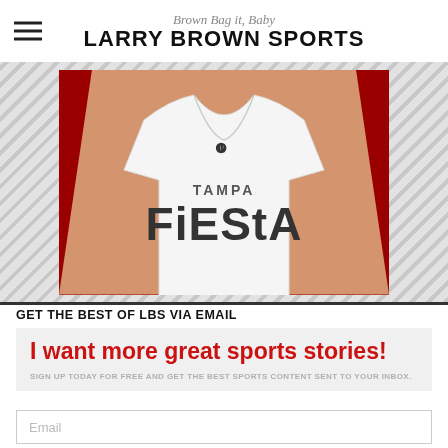Brown Bag it, Baby — LARRY BROWN SPORTS
[Figure (photo): Person wearing a white Tampa Fiesta jersey/shirt against a red background]
GET THE BEST OF LBS VIA EMAIL
I want more great sports stories!
SIGN UP TODAY FOR FREE AND GET THE BEST SPORTS CONTENT SENT TO YOUR INBOX.
Email